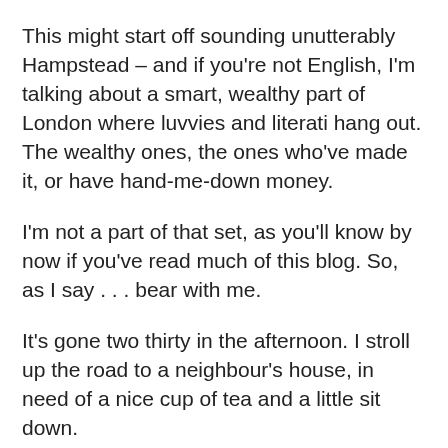This might start off sounding unutterably Hampstead – and if you're not English, I'm talking about a smart, wealthy part of London where luvvies and literati hang out. The wealthy ones, the ones who've made it, or have hand-me-down money.
I'm not a part of that set, as you'll know by now if you've read much of this blog. So, as I say . . . bear with me.
It's gone two thirty in the afternoon. I stroll up the road to a neighbour's house, in need of a nice cup of tea and a little sit down.
Do you like Redbush [rooibos], he asks? Oh yes, I do.
He boils water, makes a brew laced with orange, in a teapot made of glass. A liquid the colour of medium-dry